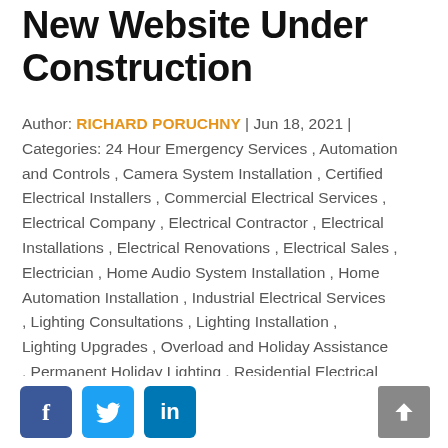New Website Under Construction
Author: RICHARD PORUCHNY | Jun 18, 2021 | Categories: 24 Hour Emergency Services , Automation and Controls , Camera System Installation , Certified Electrical Installers , Commercial Electrical Services , Electrical Company , Electrical Contractor , Electrical Installations , Electrical Renovations , Electrical Sales , Electrician , Home Audio System Installation , Home Automation Installation , Industrial Electrical Services , Lighting Consultations , Lighting Installation , Lighting Upgrades , Overload and Holiday Assistance , Permanent Holiday Lighting , Residential Electrical Services , Residential Solar Systems , Surveillance System Installation , Thermographic Scanning Services
Social share icons: Facebook, Twitter, LinkedIn. Scroll to top button.